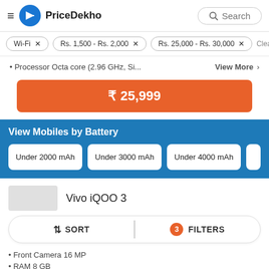PriceDekho
Wi-Fi ×
Rs. 1,500 - Rs. 2,000 ×
Rs. 25,000 - Rs. 30,000 ×
Clear a
• Processor Octa core (2.96 GHz, Si...  View More >
₹ 25,999
View Mobiles by Battery
Under 2000 mAh
Under 3000 mAh
Under 4000 mAh
Vivo iQOO 3
↓↑ SORT   3  FILTERS
• Front Camera 16 MP
• RAM 8 GB